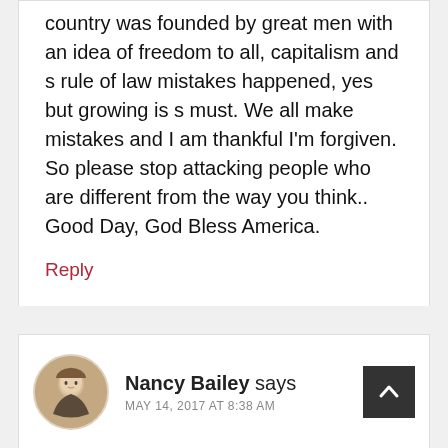country was founded by great men with an idea of freedom to all, capitalism and s rule of law mistakes happened, yes but growing is s must. We all make mistakes and I am thankful I'm forgiven. So please stop attacking people who are different from the way you think.. Good Day, God Bless America.
Reply
Nancy Bailey says
MAY 14, 2017 AT 8:38 AM